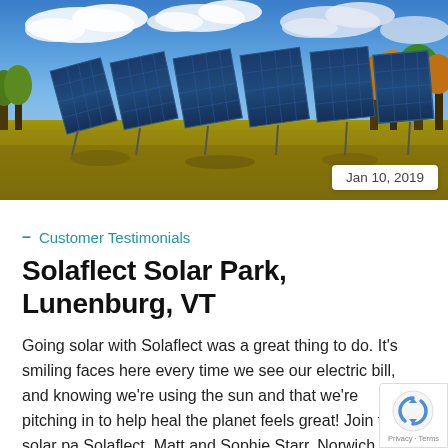[Figure (photo): Outdoor solar panel array in an open field with golden autumn grass, trees in background under a partly cloudy blue sky]
Jan 10, 2019
– Customer Testimonials
Solaflect Solar Park, Lunenburg, VT
Going solar with Solaflect was a great thing to do. It's smiling faces here every time we see our electric bill, and knowing we're using the sun and that we're pitching in to help heal the planet feels great! Join the solar pa Solaflect. Matt and Sophie Starr, Norwich, VT